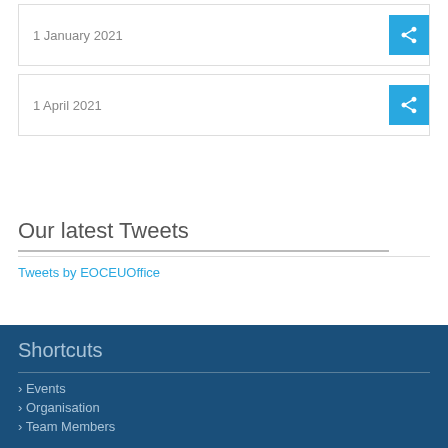1 January 2021
1 April 2021
Our latest Tweets
Tweets by EOCEUOffice
Shortcuts
Events
Organisation
Team Members